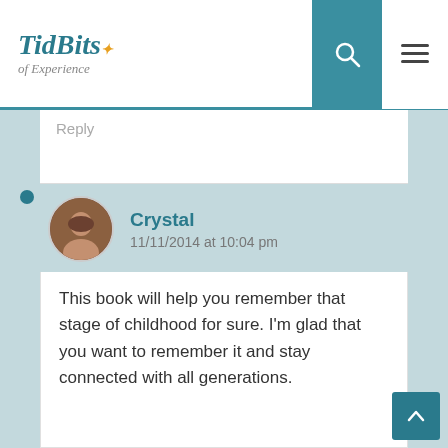TidBits of Experience
Reply
Crystal
11/11/2014 at 10:04 pm
This book will help you remember that stage of childhood for sure. I'm glad that you want to remember it and stay connected with all generations.